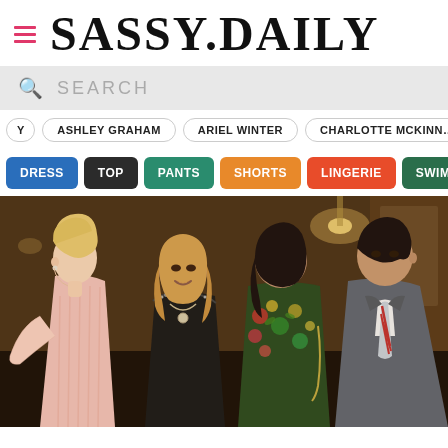SASSY.DAILY
SEARCH
ASHLEY GRAHAM
ARIEL WINTER
CHARLOTTE MCKINN…
DRESS
TOP
PANTS
SHORTS
LINGERIE
SWIM
[Figure (photo): Group of four people at a social gathering. A blonde woman in a pink ribbed dress stands on the left in profile, next to a smiling woman in a black top with a necklace, a dark-haired woman in a floral jacket, and a man in a grey suit with a striped tie on the right.]